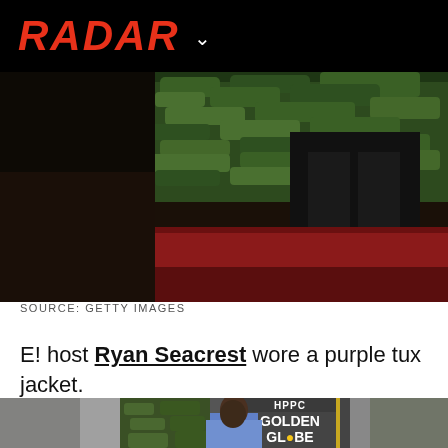RADAR
[Figure (photo): Red carpet photo showing lower half of a person in black pants and boots standing on a red carpet with green foliage backdrop]
SOURCE: GETTY IMAGES
E! host Ryan Seacrest wore a purple tux jacket.
[Figure (photo): Woman in blue strapless gown at the Golden Globe Awards backdrop, partially visible]